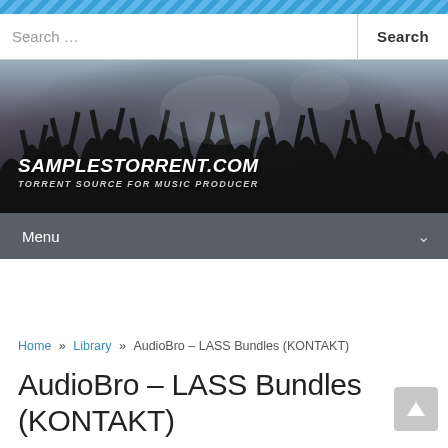[Figure (screenshot): Diagonal blue stripe pattern at top of webpage]
Search ... Search
[Figure (photo): Banner image: crowd of people at a concert with hands raised, dark/moody lighting. Text overlay: SAMPLESTORRENT.COM — TORRENT SOURCE FOR MUSIC PRODUCER]
Menu
Home » Library » AudioBro – LASS Bundles (KONTAKT)
AudioBro – LASS Bundles (KONTAKT)